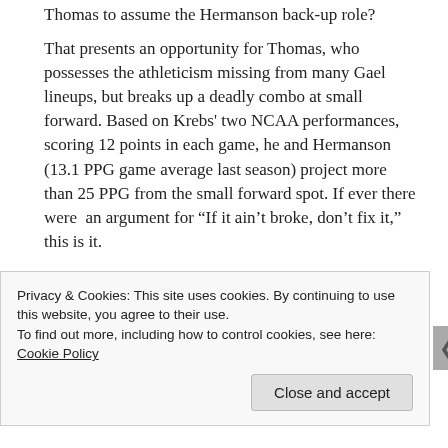Thomas to assume the Hermanson back-up role?
That presents an opportunity for Thomas, who possesses the athleticism missing from many Gael lineups, but breaks up a deadly combo at small forward. Based on Krebs' two NCAA performances, scoring 12 points in each game, he and Hermanson (13.1 PPG game average last season) project more than 25 PPG from the small forward spot. If ever there were an argument for “If it ain’t broke, don’t fix it,” this is it.
Enter Zoriks?
The role of Zoriks is also ripe for conjecture. He was the
Privacy & Cookies: This site uses cookies. By continuing to use this website, you agree to their use.
To find out more, including how to control cookies, see here: Cookie Policy